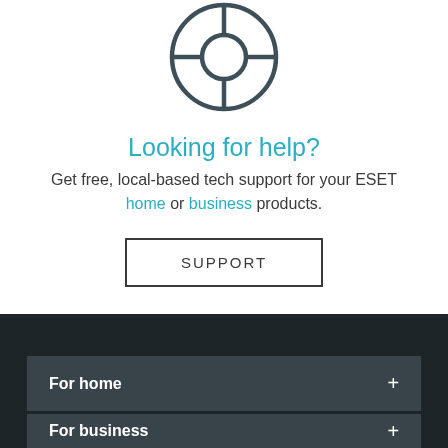[Figure (illustration): Circular lifesaver/help icon rendered in dark gray outline style]
Looking for help?
Get free, local-based tech support for your ESET home or business products.
SUPPORT
For home
For business